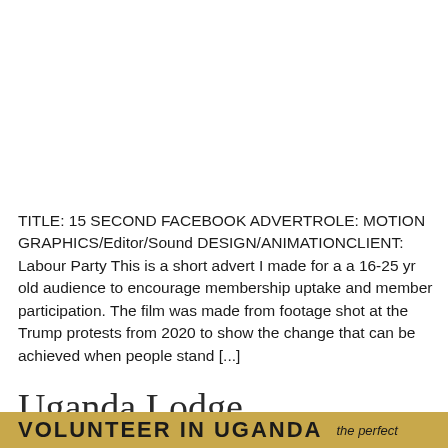TITLE: 15 SECOND FACEBOOK ADVERTROLE: MOTION GRAPHICS/Editor/Sound DESIGN/ANIMATIONCLIENT: Labour Party This is a short advert I made for a a 16-25 yr old audience to encourage membership uptake and member participation. The film was made from footage shot at the Trump protests from 2020 to show the change that can be achieved when people stand [...]
Uganda Lodge
VOLUNTEER IN UGANDA   the perfect